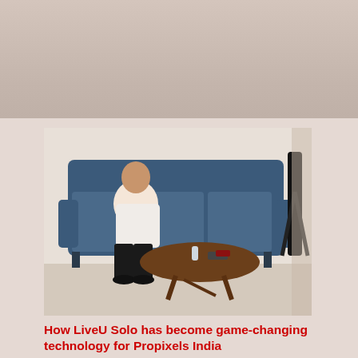[Figure (photo): A man in a white shirt and dark trousers sitting on a dark blue sofa with a round wooden coffee table in front. A camera tripod is partially visible on the right side.]
How LiveU Solo has become game-changing technology for Propixels India